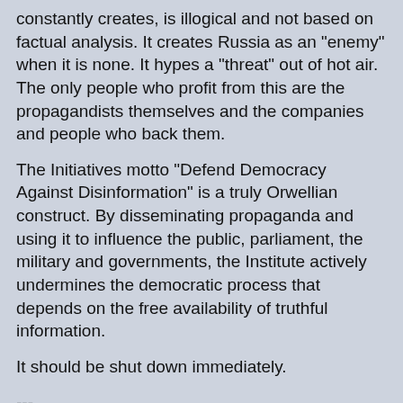constantly creates, is illogical and not based on factual analysis. It creates Russia as an "enemy" when it is none. It hypes a "threat" out of hot air. The only people who profit from this are the propagandists themselves and the companies and people who back them.
The Initiatives motto "Defend Democracy Against Disinformation" is a truly Orwellian construct. By disseminating propaganda and using it to influence the public, parliament, the military and governments, the Institute actively undermines the democratic process that depends on the free availability of truthful information.
It should be shut down immediately.
---
Notes:
There have already been attempts to delete the released files from the Internet. A complete archive of all Integrity Initiative files published so far is here. Should the public links cease to work you can contact the author of this blog for